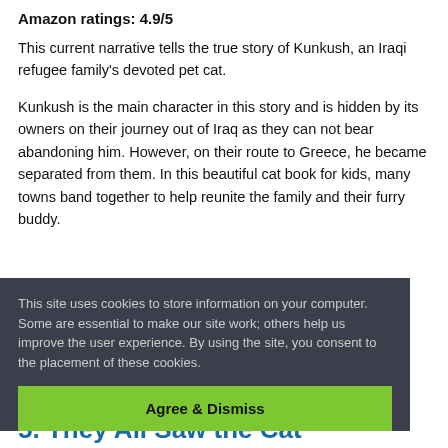Amazon ratings: 4.9/5
This current narrative tells the true story of Kunkush, an Iraqi refugee family's devoted pet cat.
Kunkush is the main character in this story and is hidden by its owners on their journey out of Iraq as they can not bear abandoning him. However, on their route to Greece, he became separated from them. In this beautiful cat book for kids, many towns band together to help reunite the family and their furry buddy.
This site uses cookies to store information on your computer. Some are essential to make our site work; others help us improve the user experience. By using the site, you consent to the placement of these cookies.
Agree & Dismiss
5. They All Saw the Cat